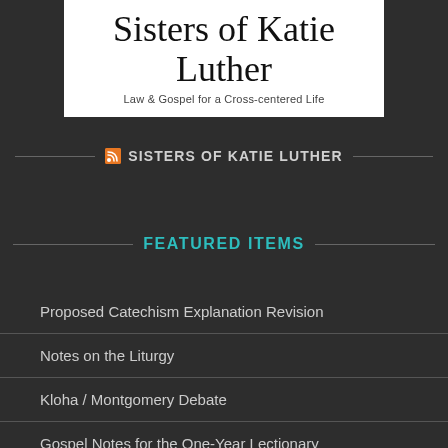[Figure (logo): Sisters of Katie Luther logo — script title with subtitle 'Law & Gospel for a Cross-centered Life']
SISTERS OF KATIE LUTHER
FEATURED ITEMS
Proposed Catechism Explanation Revision
Notes on the Liturgy
Kloha / Montgomery Debate
Gospel Notes for the One-Year Lectionary
Luther's Lectionary Notes